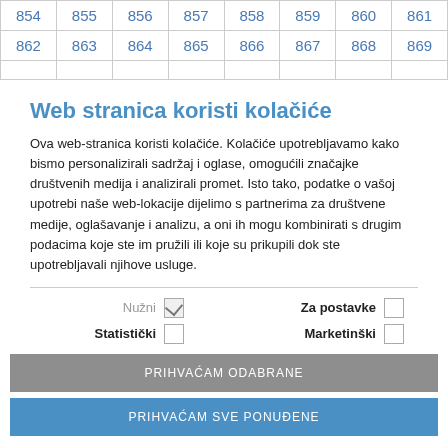| 854 | 855 | 856 | 857 | 858 | 859 | 860 | 861 |
| --- | --- | --- | --- | --- | --- | --- | --- |
| 862 | 863 | 864 | 865 | 866 | 867 | 868 | 869 |
|   |   |   |   |   |   |   |   |
Web stranica koristi kolačiće
Ova web-stranica koristi kolačiće. Kolačiće upotrebljavamo kako bismo personalizirali sadržaj i oglase, omogućili značajke društvenih medija i analizirali promet. Isto tako, podatke o vašoj upotrebi naše web-lokacije dijelimo s partnerima za društvene medije, oglašavanje i analizu, a oni ih mogu kombinirati s drugim podacima koje ste im pružili ili koje su prikupili dok ste upotrebljavali njihove usluge.
Nužni [checked]
Za postavke [unchecked]
Statistički [unchecked]
Marketinški [unchecked]
PRIHVAĆAM ODABRANE
PRIHVAĆAM SVE PONUĐENE